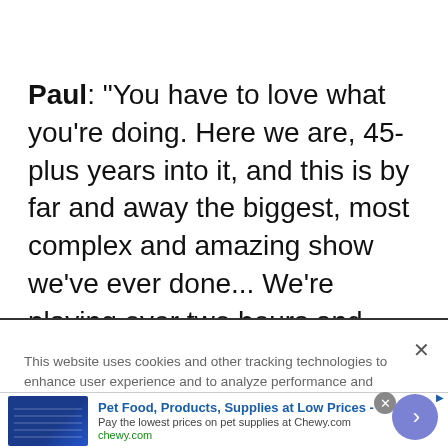Paul: "You have to love what you're doing. Here we are, 45-plus years into it, and this is by far and away the biggest, most complex and amazing show we've ever done... We're playing over two hours and we're covering all the periods
This website uses cookies and other tracking technologies to enhance user experience and to analyze performance and traffic on our website. Information about your use of our site may also be shared with social media, advertising, retail and analytics providers and partners. Privacy Policy
[Figure (screenshot): Advertisement banner for Chewy.com: Pet Food, Products, Supplies at Low Prices - Pay the lowest prices on pet supplies at Chewy.com. chewy.com]